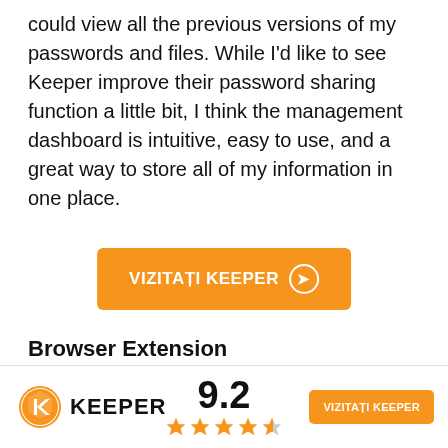could view all the previous versions of my passwords and files. While I'd like to see Keeper improve their password sharing function a little bit, I think the management dashboard is intuitive, easy to use, and a great way to store all of my information in one place.
[Figure (other): Orange button labeled VIZITAȚI KEEPER with right arrow circle icon]
Browser Extension
[Figure (other): Dark purple/navy banner with red border: Keeper's browser extension is very intuitive]
[Figure (other): Footer bar with Keeper logo, score 9.2, four and half stars, and orange VIZITAȚI KEEPER button]